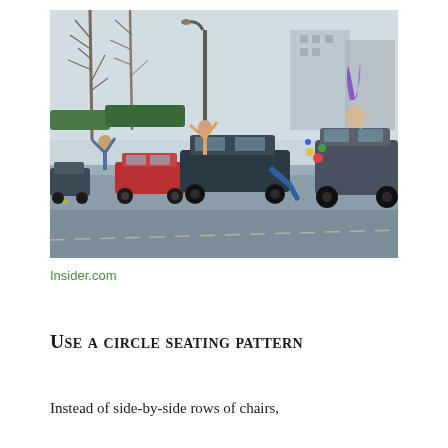[Figure (photo): A line of decorated cars on a street with people leaning out of windows and sunroofs, waving and celebrating. Bare winter trees and buildings visible in background. Street scene appears to be a car parade.]
Insider.com
Use a circle seating pattern
Instead of side-by-side rows of chairs,